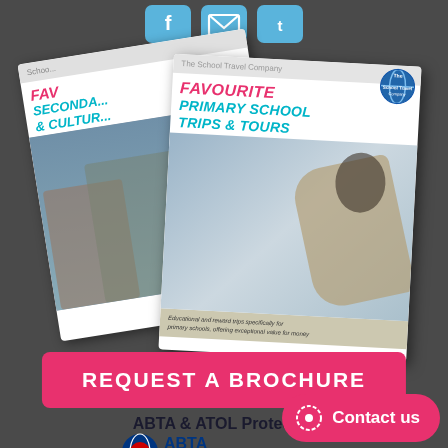[Figure (illustration): Three teal/blue social media icon buttons (Facebook, email, Twitter) at top center]
[Figure (photo): Two school travel brochure covers fanned slightly. Back brochure: 'FAVOURITE SECONDARY & CULTURAL...' with photo of students. Front brochure: 'FAVOURITE PRIMARY SCHOOL TRIPS & TOURS' with photo of child looking through telescope. School Travel Company logo visible. Footer text: Educational and reward trips specifically for primary schools, offering exceptional value for money.]
REQUEST A BROCHURE
ABTA & ATOL Protected
[Figure (logo): ABTA logo - Travel with confidence, and ATOL logo partial]
Contact us